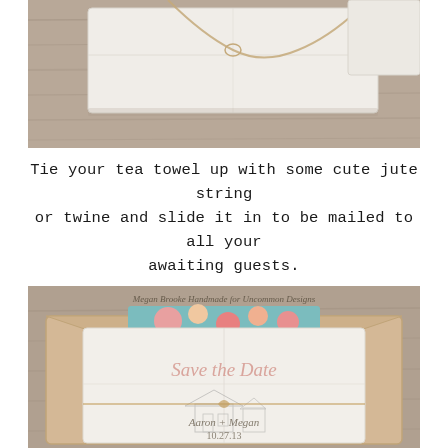[Figure (photo): A folded white tea towel tied with jute string/twine, placed on a wooden surface, shown from above. Photographed against a rustic wood grain background.]
Tie your tea towel up with some cute jute string or twine and slide it in to be mailed to all your awaiting guests.
[Figure (photo): A printed tea towel with 'Save the Date' in cursive script and a house illustration, tied with jute twine, displayed inside an open kraft paper envelope. Text reads 'Megan Brooke Handmade for Uncommon Designs' in cursive at top. Names 'Aaron + Megan' and date '10.27.13' visible at bottom of towel.]